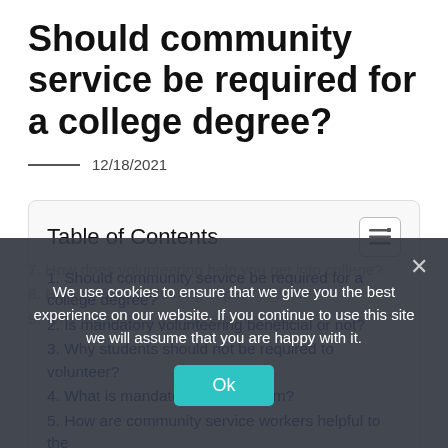Should community service be required for a college degree?
12/18/2021
Table of Contents
1. Should community service be required for a college degree?
2. Is mandatory volunteering beneficial or not?
3. Why students should not be required to volunteer?
4. What is mandatory volunteerism?
5. How are community service workers helpful to the
7. How does volunteering help you get into college?
8. How does volunteering impact your life?
9. Why Mandatory Volunteerism is bad?
We use cookies to ensure that we give you the best experience on our website. If you continue to use this site we will assume that you are happy with it.